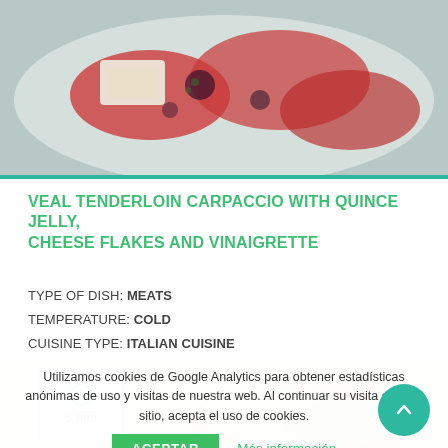[Figure (photo): Close-up photo of veal tenderloin carpaccio with quince jelly on a white plate]
VEAL TENDERLOIN CARPACCIO WITH QUINCE JELLY, CHEESE FLAKES AND VINAIGRETTE
TYPE OF DISH: MEATS
TEMPERATURE: COLD
CUISINE TYPE: ITALIAN CUISINE
[Figure (photo): Food item photo with 5 min preparation time badge]
Utilizamos cookies de Google Analytics para obtener estadísticas anónimas de uso y visitas de nuestra web. Al continuar su visita en este sitio, acepta el uso de cookies.
ACEPTAR   Más información